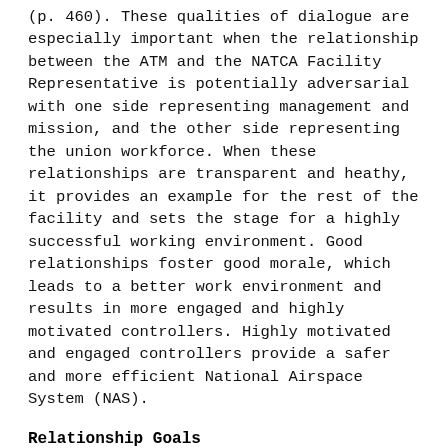(p. 460). These qualities of dialogue are especially important when the relationship between the ATM and the NATCA Facility Representative is potentially adversarial with one side representing management and mission, and the other side representing the union workforce. When these relationships are transparent and heathy, it provides an example for the rest of the facility and sets the stage for a highly successful working environment. Good relationships foster good morale, which leads to a better work environment and results in more engaged and highly motivated controllers. Highly motivated and engaged controllers provide a safer and more efficient National Airspace System (NAS).
Relationship Goals
There is value in defining the specific goals that should be achieved through a cooperative relationship between...